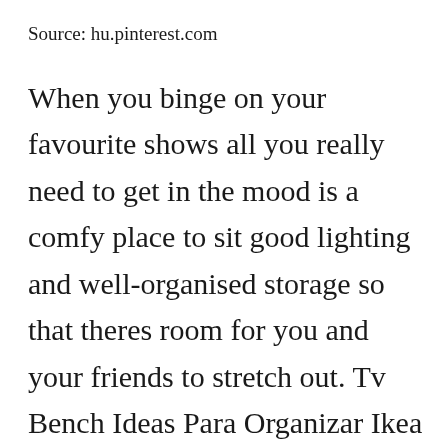Source: hu.pinterest.com
When you binge on your favourite shows all you really need to get in the mood is a comfy place to sit good lighting and well-organised storage so that theres room for you and your friends to stretch out. Tv Bench Ideas Para Organizar Ikea Hackers Home Hacks My New Room Entertainment Center Home And Living Living Room Small Living OCD-Friendly Expedit TV Bench – IKEA Hackers Mate [CLOSE X] With a comfortable